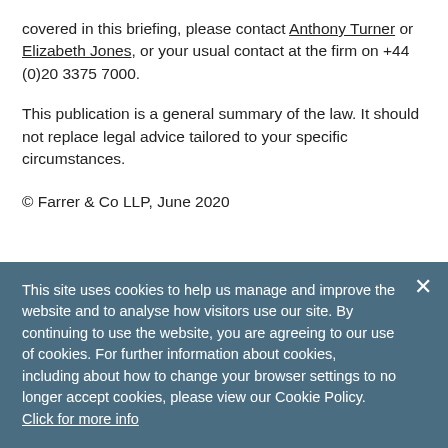covered in this briefing, please contact Anthony Turner or Elizabeth Jones, or your usual contact at the firm on +44 (0)20 3375 7000.
This publication is a general summary of the law. It should not replace legal advice tailored to your specific circumstances.
© Farrer & Co LLP, June 2020
This site uses cookies to help us manage and improve the website and to analyse how visitors use our site. By continuing to use the website, you are agreeing to our use of cookies. For further information about cookies, including about how to change your browser settings to no longer accept cookies, please view our Cookie Policy. Click for more info